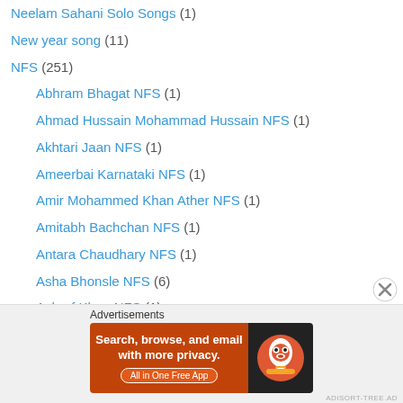Neelam Sahani Solo Songs (1)
New year song (11)
NFS (251)
Abhram Bhagat NFS (1)
Ahmad Hussain Mohammad Hussain NFS (1)
Akhtari Jaan NFS (1)
Ameerbai Karnataki NFS (1)
Amir Mohammed Khan Ather NFS (1)
Amitabh Bachchan NFS (1)
Antara Chaudhary NFS (1)
Asha Bhonsle NFS (6)
Ashraf Khan NFS (1)
Aziz Naazaan NFS (1)
B M Vyas NFS (1)
Begam Akhtar NFS (7)
Bhupen Hazarika NFS (2)
C H Atma NFS (7)
[Figure (screenshot): DuckDuckGo advertisement banner with text 'Search, browse, and email with more privacy. All in One Free App' on an orange background with DuckDuckGo logo on dark background.]